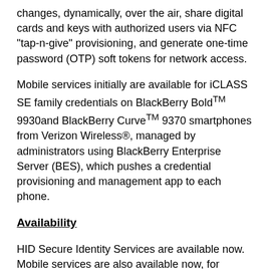changes, dynamically, over the air, share digital cards and keys with authorized users via NFC "tap-n-give" provisioning, and generate one-time password (OTP) soft tokens for network access.
Mobile services initially are available for iCLASS SE family credentials on BlackBerry Bold™ 9930and BlackBerry Curve™ 9370 smartphones from Verizon Wireless®, managed by administrators using BlackBerry Enterprise Server (BES), which pushes a credential provisioning and management app to each phone.
Availability
HID Secure Identity Services are available now. Mobile services are also available now, for iCLASS® credentials on BlackBerry Bold 9930 and BlackBerry